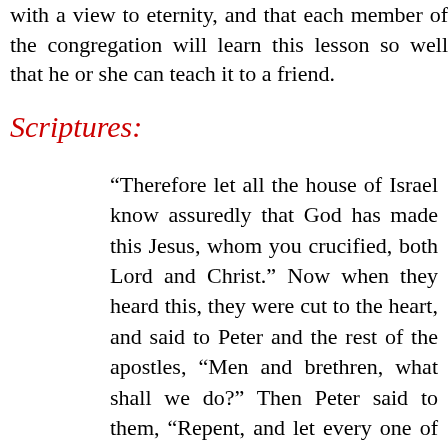with a view to eternity, and that each member of the congregation will learn this lesson so well that he or she can teach it to a friend.
Scriptures:
“Therefore let all the house of Israel know assuredly that God has made this Jesus, whom you crucified, both Lord and Christ.” Now when they heard this, they were cut to the heart, and said to Peter and the rest of the apostles, “Men and brethren, what shall we do?” Then Peter said to them, “Repent, and let every one of you be baptized in the name of Jesus Christ for the remission